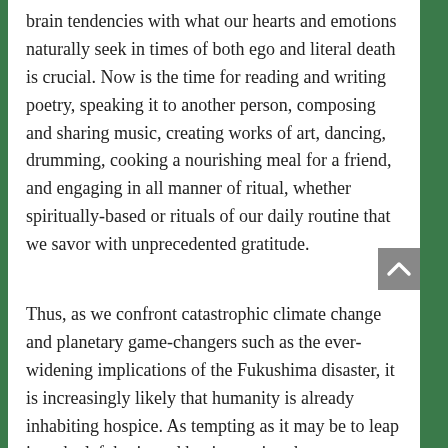brain tendencies with what our hearts and emotions naturally seek in times of both ego and literal death is crucial. Now is the time for reading and writing poetry, speaking it to another person, composing and sharing music, creating works of art, dancing, drumming, cooking a nourishing meal for a friend, and engaging in all manner of ritual, whether spiritually-based or rituals of our daily routine that we savor with unprecedented gratitude.
Thus, as we confront catastrophic climate change and planetary game-changers such as the ever-widening implications of the Fukushima disaster, it is increasingly likely that humanity is already inhabiting hospice. As tempting as it may be to leap into the left brain and begin arguing that we are not inhabiting hospice and that the notion is absurd, it may actually